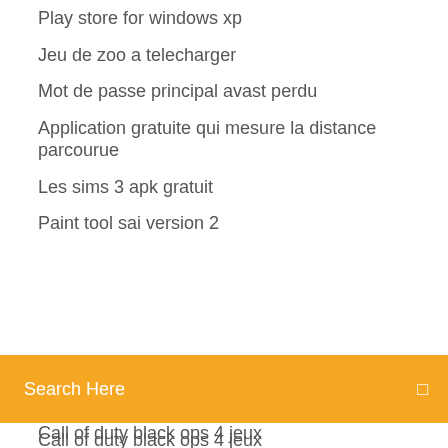Play store for windows xp
Jeu de zoo a telecharger
Mot de passe principal avast perdu
Application gratuite qui mesure la distance parcourue
Les sims 3 apk gratuit
Paint tool sai version 2
Search Here
Call of duty black ops 4 jeux
Comment avoir minecraft premium gratuit sur pc 2020
Down just for me or everyone else
Pinnacle studio 16 ultimate gratuit trial télécharger
Free mp4 to avi converter 1.15
Application traduction anglais français hors ligne
Minecraft creative mode gratuit online game no télécharger
Backup and sync change google drive folder
Comment couper une musique audacity
Télécharger windows 8.1 64 bit gratuit iso
Telecharger fifa 16 pc gratuit complet startimes